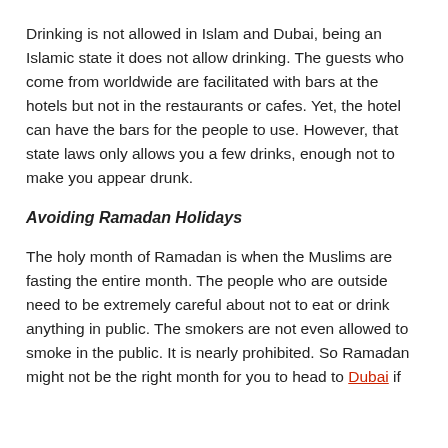Drinking is not allowed in Islam and Dubai, being an Islamic state it does not allow drinking. The guests who come from worldwide are facilitated with bars at the hotels but not in the restaurants or cafes. Yet, the hotel can have the bars for the people to use. However, that state laws only allows you a few drinks, enough not to make you appear drunk.
Avoiding Ramadan Holidays
The holy month of Ramadan is when the Muslims are fasting the entire month. The people who are outside need to be extremely careful about not to eat or drink anything in public. The smokers are not even allowed to smoke in the public. It is nearly prohibited. So Ramadan might not be the right month for you to head to Dubai if